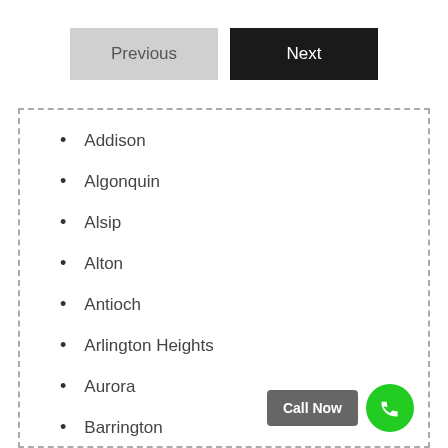[Figure (screenshot): Previous button (gray) and Next button (black) navigation controls]
Addison
Algonquin
Alsip
Alton
Antioch
Arlington Heights
Aurora
Barrington